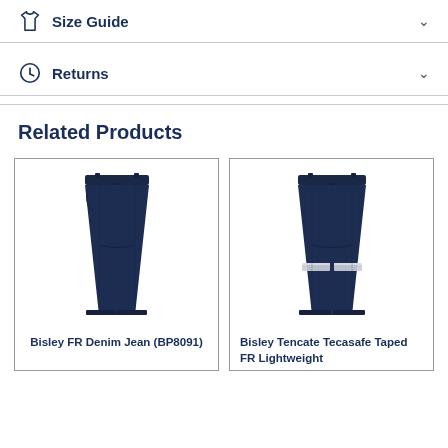Size Guide
Returns
Related Products
[Figure (photo): Dark navy denim jeans product photo - Bisley FR Denim Jean BP8091]
Bisley FR Denim Jean (BP8091)
[Figure (photo): Dark navy work pants with reflective tape stripe - Bisley Tencate Tecasafe Taped FR Lightweight]
Bisley Tencate Tecasafe Taped FR Lightweight